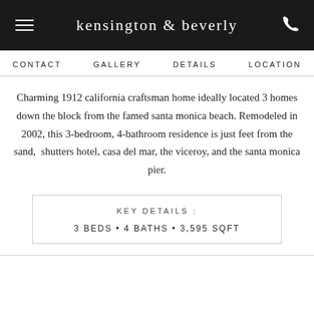kensington & beverly
CONTACT   GALLERY   DETAILS   LOCATION
Charming 1912 california craftsman home ideally located 3 homes down the block from the famed santa monica beach. Remodeled in 2002, this 3-bedroom, 4-bathroom residence is just feet from the sand, shutters hotel, casa del mar, the viceroy, and the santa monica pier.
KEY DETAILS :
3 BEDS • 4 BATHS • 3,595 SQFT